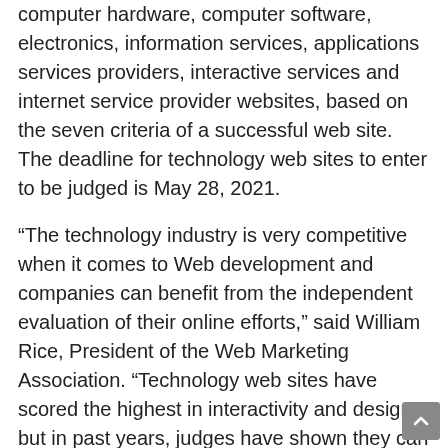computer hardware, computer software, electronics, information services, applications services providers, interactive services and internet service provider websites, based on the seven criteria of a successful web site. The deadline for technology web sites to enter to be judged is May 28, 2021.
“The technology industry is very competitive when it comes to Web development and companies can benefit from the independent evaluation of their online efforts,” said William Rice, President of the Web Marketing Association. “Technology web sites have scored the highest in interactivity and design, but in past years, judges have shown they can do even better by getting innovative to stand out from the other sites and make the visitors remember them, even after they’ve left the site.”